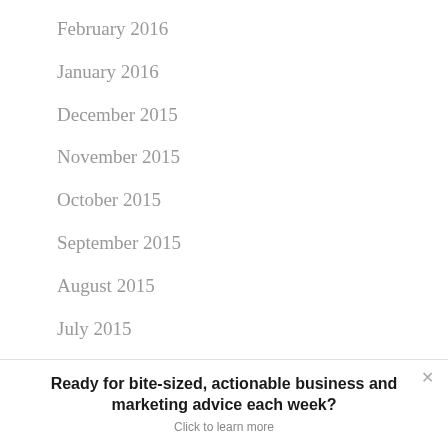February 2016
January 2016
December 2015
November 2015
October 2015
September 2015
August 2015
July 2015
June 2015
Ready for bite-sized, actionable business and marketing advice each week?
Click to learn more